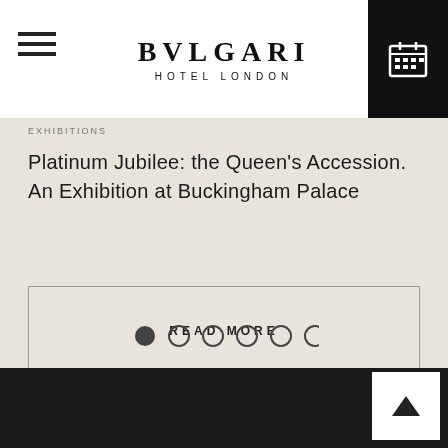BVLGARI HOTEL LONDON
EXHIBITIONS
Platinum Jubilee: the Queen's Accession. An Exhibition at Buckingham Palace
READ MORE
[Figure (other): Carousel pagination dots — 6 circles, first one filled/active]
[Figure (other): Back to top arrow button in white box on dark footer]